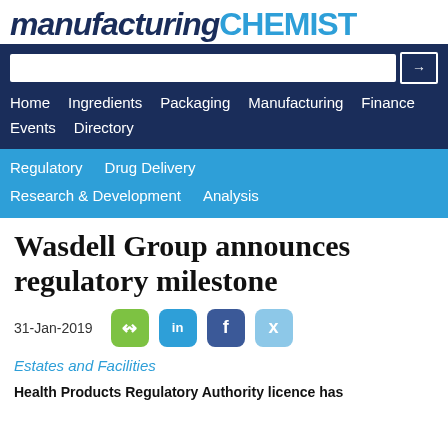manufacturing CHEMIST
[Figure (screenshot): Navigation bar with search box and menu links: Home, Ingredients, Packaging, Manufacturing, Finance, Events, Directory, Regulatory, Drug Delivery, Research & Development, Analysis]
Wasdell Group announces regulatory milestone
31-Jan-2019
Estates and Facilities
Health Products Regulatory Authority licence has